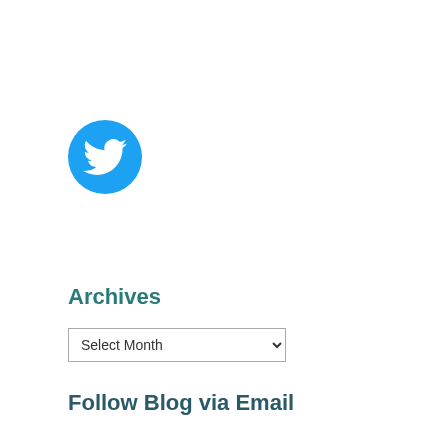[Figure (logo): Twitter bird logo in a teal/blue circle]
Archives
Select Month
Follow Blog via Email
Enter your email address to follow this blog and receive notifications of new posts by email.
Enter your email address
Follow